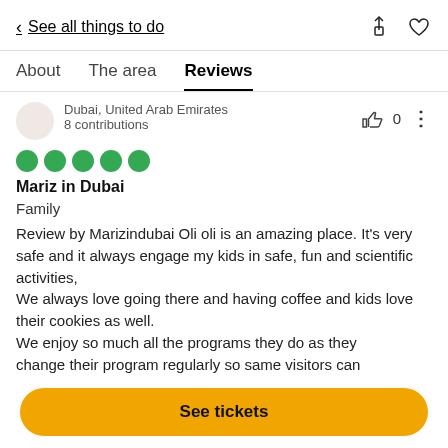< See all things to do
About   The area   Reviews
Dubai, United Arab Emirates
8 contributions
Mariz in Dubai
Family
Review by Marizindubai Oli oli is an amazing place. It's very safe and it always engage my kids in safe, fun and scientific activities,
We always love going there and having coffee and kids love their cookies as well.
We enjoy so much all the programs they do as they change their program regularly so same visitors can
See tickets